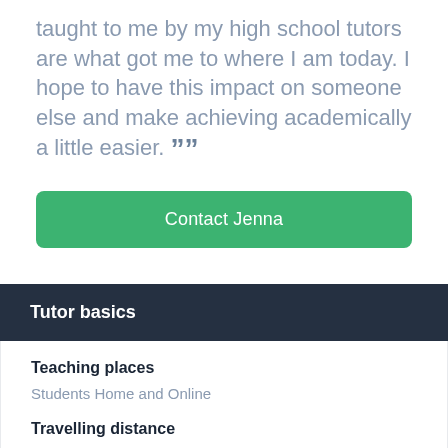taught to me by my high school tutors are what got me to where I am today. I hope to have this impact on someone else and make achieving academically a little easier. ””
Contact Jenna
Tutor basics
Teaching places
Students Home and Online
Travelling distance
Jenna will travel 30km from Northmead, Benoni,